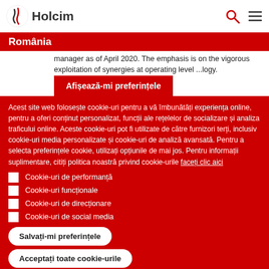Holcim România
manager as of April 2020. The emphasis is on the vigorous exploitation of synergies at operating level ...logy.
Afișează-mi preferințele
Acest site web folosește cookie-uri pentru a vă îmbunătăți experiența online, pentru a oferi conținut personalizat, funcții ale rețelelor de socializare și analiza traficului online. Aceste cookie-uri pot fi utilizate de către furnizori terți, inclusiv cookie-uri media personalizate și cookie-uri de analiză avansată. Pentru a selecta preferințele cookie, utilizați opțiunile de mai jos. Pentru informații suplimentare, citiți politica noastră privind cookie-urile faceți clic aici
Cookie-uri de performanță
Cookie-uri funcționale
Cookie-uri de direcționare
Cookie-uri de social media
Salvați-mi preferințele
Acceptați toate cookie-urile